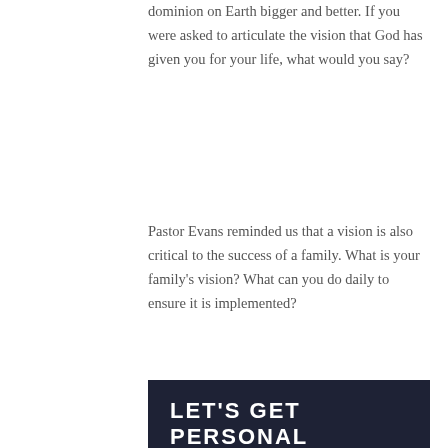dominion on Earth bigger and better. If you were asked to articulate the vision that God has given you for your life, what would you say?
Pastor Evans reminded us that a vision is also critical to the success of a family. What is your family's vision? What can you do daily to ensure it is implemented?
LET'S GET PERSONAL
Shamgar was not the only person in the Bible who did a lot with one tool. Moses parted the Red Sea with his shepherd's rod and Samson fought against an army of 1,000 men with the jawbone of a donkey. All of these men